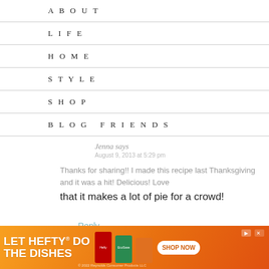ABOUT
LIFE
HOME
STYLE
SHOP
BLOG FRIENDS
Jenna says
August 9, 2013 at 5:29 pm
Thanks for sharing!! I made this recipe last Thanksgiving and it was a hit! Delicious! Love that it makes a lot of pie for a crowd!
Reply
[Figure (illustration): Decorative cursive 'follow' text watermark on left side]
[Figure (photo): Advertisement banner: LET HEFTY DO THE DISHES with product images and SHOP NOW button]